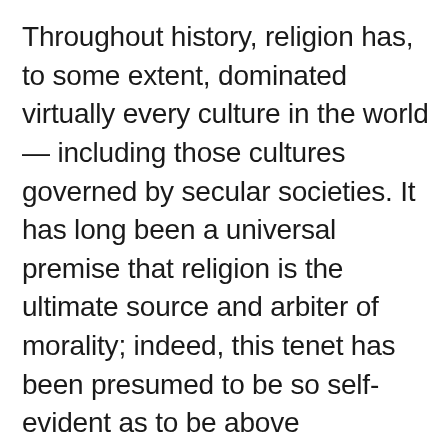Throughout history, religion has, to some extent, dominated virtually every culture in the world — including those cultures governed by secular societies. It has long been a universal premise that religion is the ultimate source and arbiter of morality; indeed, this tenet has been presumed to be so self-evident as to be above questioning. Which is a pity — because if people were more wiling to question it, they would find that such a presumption has some major flaws, both logical and factual.